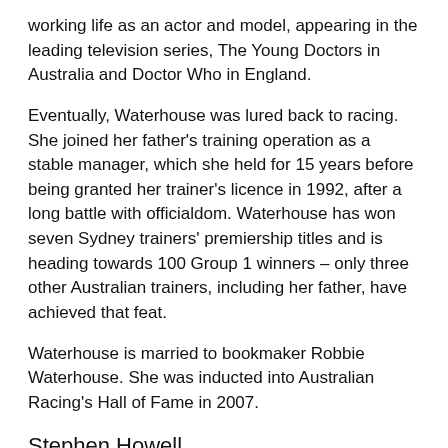working life as an actor and model, appearing in the leading television series, The Young Doctors in Australia and Doctor Who in England.
Eventually, Waterhouse was lured back to racing. She joined her father's training operation as a stable manager, which she held for 15 years before being granted her trainer's licence in 1992, after a long battle with officialdom. Waterhouse has won seven Sydney trainers' premiership titles and is heading towards 100 Group 1 winners – only three other Australian trainers, including her father, have achieved that feat.
Waterhouse is married to bookmaker Robbie Waterhouse. She was inducted into Australian Racing's Hall of Fame in 2007.
Stephen Howell
Stephen Howell has been a racing editor at The Slattery Media Group since 2008. For 40 years before that he was a newspaper journalist, working in different sections on different papers (The Examiner and The Mercury in Tasmania, The Daily Mirror in Sydney, and The Sun, The Herald, The Sunday Age and